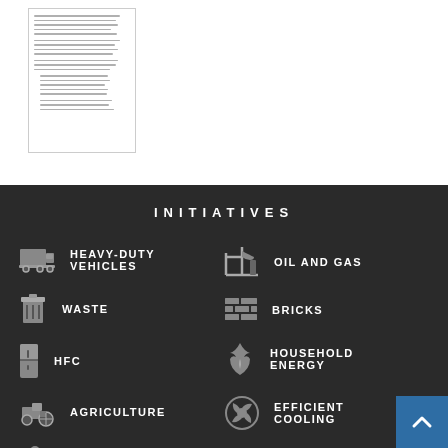[Figure (illustration): Small thumbnail of a document page with text lines]
INITIATIVES
HEAVY-DUTY VEHICLES
OIL AND GAS
WASTE
BRICKS
HFC
HOUSEHOLD ENERGY
AGRICULTURE
EFFICIENT COOLING
SNAP
FINANCE